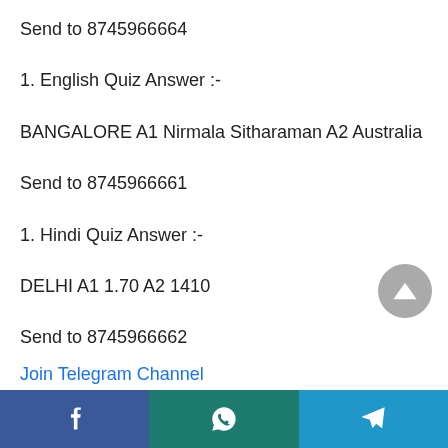Send to 8745966664
1. English Quiz Answer :-
BANGALORE A1 Nirmala Sitharaman A2 Australia
Send to 8745966661
1. Hindi Quiz Answer :-
DELHI A1 1.70 A2 1410
Send to 8745966662
Join Telegram Channel
Facebook | WhatsApp | Telegram share buttons